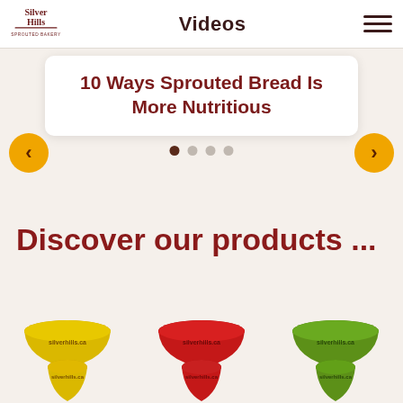Silver Hills Sprouted Bakery — Videos
10 Ways Sprouted Bread Is More Nutritious
Discover our products ...
[Figure (photo): Three hourglass-shaped product icons in yellow, red, and green colors at the bottom of the page]